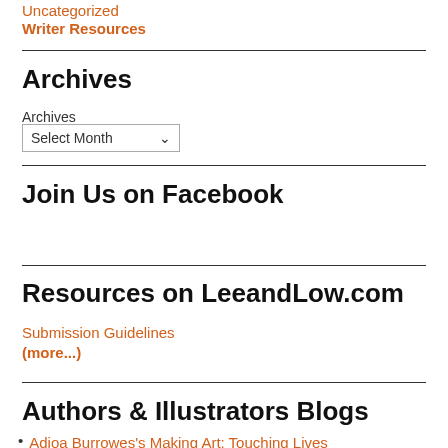Uncategorized
Writer Resources
Archives
Archives
Select Month
Join Us on Facebook
Resources on LeeandLow.com
Submission Guidelines
(more...)
Authors & Illustrators Blogs
Adjoa Burrowes's Making Art: Touching Lives